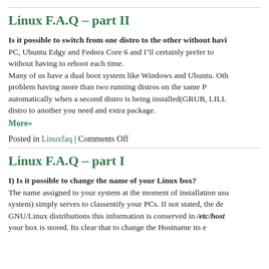Linux F.A.Q – part II
Is it possible to switch from one distro to the other without having PC, Ubuntu Edgy and Fedora Core 6 and I'll certainly prefer to without having to reboot each time.
Many of us have a dual boot system like Windows and Ubuntu. Others problem having more than two running distros on the same PC automatically when a second distro is being installed(GRUB, LILL distro to another you need and extra package.
More»
Posted in Linuxfaq | Comments Off
Linux F.A.Q – part I
I) Is it possible to change the name of your Linux box?
The name assigned to your system at the moment of installation usu system) simply serves to classentify your PCs. If not stated, the de GNU/Linux distributions this information is conserved in /etc/host your box is stored. Its clear that to change the Hostname its e